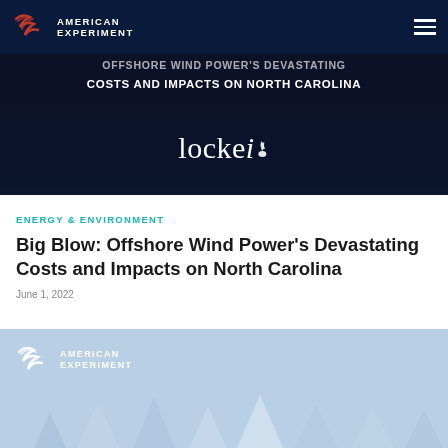American Experiment
[Figure (photo): Dark hero banner image with text overlay: 'OFFSHORE WIND POWER'S DEVASTATING COSTS AND IMPACTS ON NORTH CAROLINA' and Locke i logo in white on dark navy/black background]
ENERGY & ENVIRONMENT
Big Blow: Offshore Wind Power's Devastating Costs and Impacts on North Carolina
June 1, 2022
[Figure (illustration): Light blue background section with American Experiment logo and repeating upward-pointing arrow pattern in lighter blue shades]